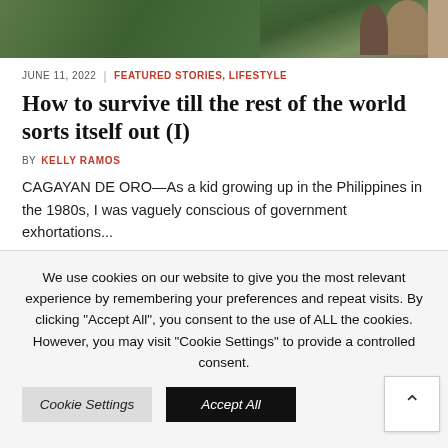[Figure (photo): Photo of potted plants and greenery on a surface, partially visible at top of page]
JUNE 11, 2022 | FEATURED STORIES, LIFESTYLE
How to survive till the rest of the world sorts itself out (I)
BY KELLY RAMOS
CAGAYAN DE ORO—As a kid growing up in the Philippines in the 1980s, I was vaguely conscious of government exhortations...
We use cookies on our website to give you the most relevant experience by remembering your preferences and repeat visits. By clicking "Accept All", you consent to the use of ALL the cookies. However, you may visit "Cookie Settings" to provide a controlled consent.